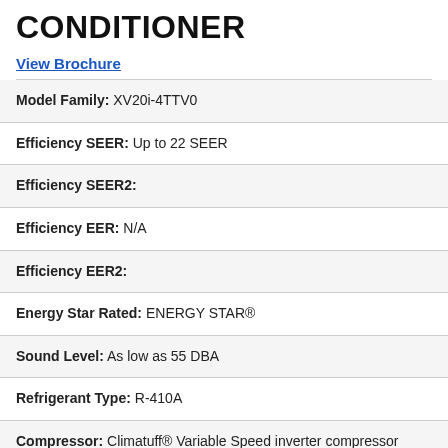CONDITIONER
View Brochure
| Specification | Value |
| --- | --- |
| Model Family: | XV20i-4TTV0 |
| Efficiency SEER: | Up to 22 SEER |
| Efficiency SEER2: |  |
| Efficiency EER: | N/A |
| Efficiency EER2: |  |
| Energy Star Rated: | ENERGY STAR® |
| Sound Level: | As low as 55 DBA |
| Refrigerant Type: | R-410A |
| Compressor: | Climatuff® Variable Speed inverter compressor |
| Factory Warranty Parts: | 10 Year limited warranty on |